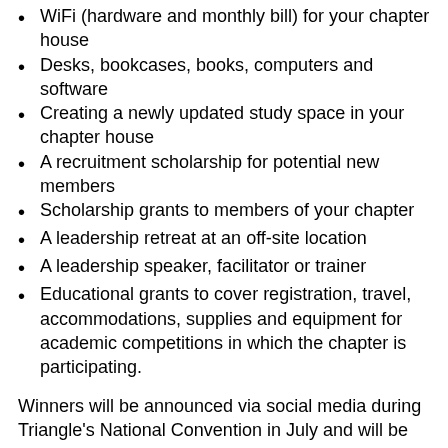WiFi (hardware and monthly bill) for your chapter house
Desks, bookcases, books, computers and software
Creating a newly updated study space in your chapter house
A recruitment scholarship for potential new members
Scholarship grants to members of your chapter
A leadership retreat at an off-site location
A leadership speaker, facilitator or trainer
Educational grants to cover registration, travel, accommodations, supplies and equipment for academic competitions in which the chapter is participating.
Winners will be announced via social media during Triangle's National Convention in July and will be added to our roster of winners below.